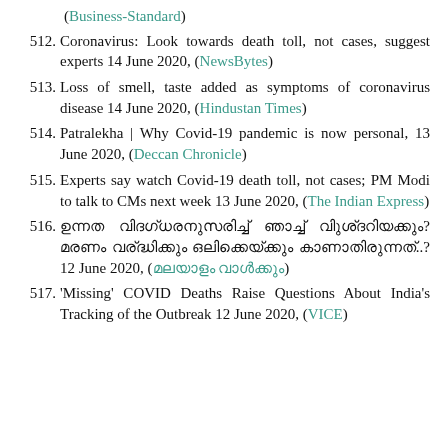(Business-Standard)
512. Coronavirus: Look towards death toll, not cases, suggest experts 14 June 2020, (NewsBytes)
513. Loss of smell, taste added as symptoms of coronavirus disease 14 June 2020, (Hindustan Times)
514. Patralekha | Why Covid-19 pandemic is now personal, 13 June 2020, (Deccan Chronicle)
515. Experts say watch Covid-19 death toll, not cases; PM Modi to talk to CMs next week 13 June 2020, (The Indian Express)
516. [non-Latin text] 12 June 2020, ([non-Latin source])
517. 'Missing' COVID Deaths Raise Questions About India's Tracking of the Outbreak 12 June 2020, (VICE)